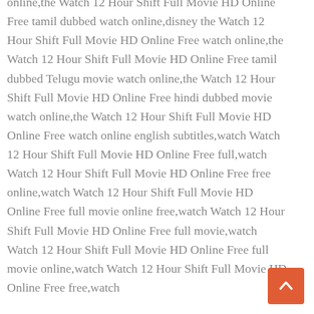online,the Watch 12 Hour Shift Full Movie HD Online Free tamil dubbed watch online,disney the Watch 12 Hour Shift Full Movie HD Online Free watch online,the Watch 12 Hour Shift Full Movie HD Online Free tamil dubbed Telugu movie watch online,the Watch 12 Hour Shift Full Movie HD Online Free hindi dubbed movie watch online,the Watch 12 Hour Shift Full Movie HD Online Free watch online english subtitles,watch Watch 12 Hour Shift Full Movie HD Online Free full,watch Watch 12 Hour Shift Full Movie HD Online Free free online,watch Watch 12 Hour Shift Full Movie HD Online Free full movie online free,watch Watch 12 Hour Shift Full Movie HD Online Free full movie,watch Watch 12 Hour Shift Full Movie HD Online Free full movie online,watch Watch 12 Hour Shift Full Movie HD Online Free free,watch